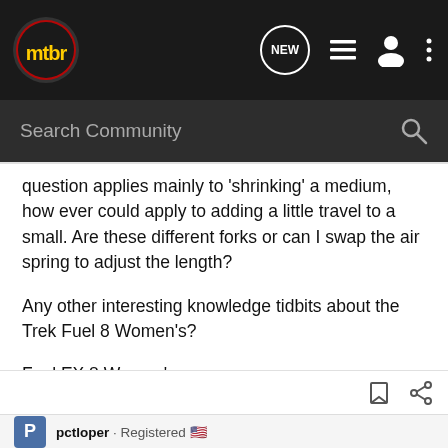mtbr — navigation header with logo, NEW button, list icon, user icon, more icon
Search Community
question applies mainly to 'shrinking' a medium, how ever could apply to adding a little travel to a small. Are these different forks or can I swap the air spring to adjust the length?

Any other interesting knowledge tidbits about the Trek Fuel 8 Women's?
Fuel EX 8 Women's
https://www.trekbikes.com/us/en_US/...ntain-bikes/fuel-ex/fuel-ex-8-womens/p/23602/
pctloper · Registered 🇺🇸